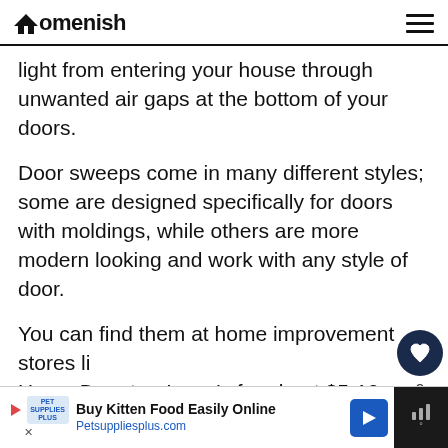Homenish
light from entering your house through unwanted air gaps at the bottom of your doors.
Door sweeps come in many different styles; some are designed specifically for doors with moldings, while others are more modern looking and work with any style of door.
You can find them at home improvement stores like Home Depot or Lowe's for about $5-10 each. Installing one takes just minutes: just peel off its adhesive backing, press it down over where you
[Figure (screenshot): Advertisement banner for Pet Supplies Plus: 'Buy Kitten Food Easily Online' with Petsuppliesplus.com and a navigation arrow icon, plus a dark right panel with audio/speaker dots icon]